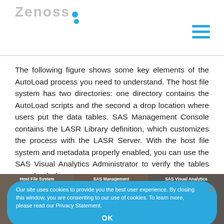Zenoss logo and navigation
The following figure shows some key elements of the AutoLoad process you need to understand. The host file system has two directories: one directory contains the AutoLoad scripts and the second a drop location where users put the data tables. SAS Management Console contains the LASR Library definition, which customizes the process with the LASR Server. With the host file system and metadata properly enabled, you can use the SAS Visual Analytics Administrator to verify the tables were loaded.
[Figure (infographic): Diagram showing three columns: Host File System, SAS Management, SAS Visual Analytics, with labels for Data Table Drop Location, LASR Library Definition, Metadata Presented Attributes, Contents, Visual Analytics Administrator Directory, Autoload Scripts]
Our site uses cookies to provide you the best user experience. By closing this window, you are consenting to our use of cookies. To learn more, please read our Privacy Statement. OK